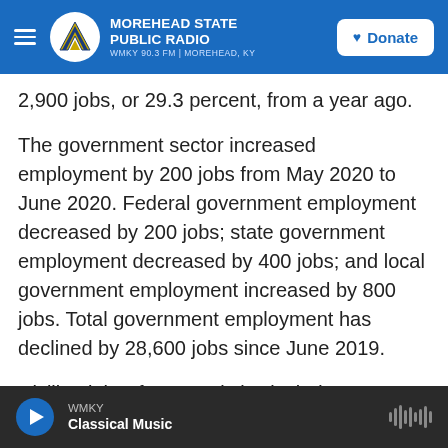MOREHEAD STATE PUBLIC RADIO — WMKY 90.3 FM | MOREHEAD, KY — Donate
2,900 jobs, or 29.3 percent, from a year ago.
The government sector increased employment by 200 jobs from May 2020 to June 2020. Federal government employment decreased by 200 jobs; state government employment decreased by 400 jobs; and local government employment increased by 800 jobs. Total government employment has declined by 28,600 jobs since June 2019.
Civilian labor force statistics include nonmilitary workers and unemployed Kentuckians who are actively seeking work. They do not include unemployed Kentuckians who have not looked for
WMKY — Classical Music